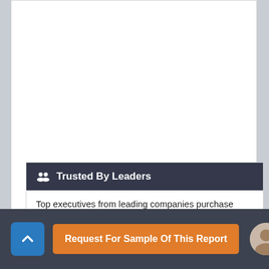Trusted By Leaders
Top executives from leading companies purchase
Request For Sample Of This Report